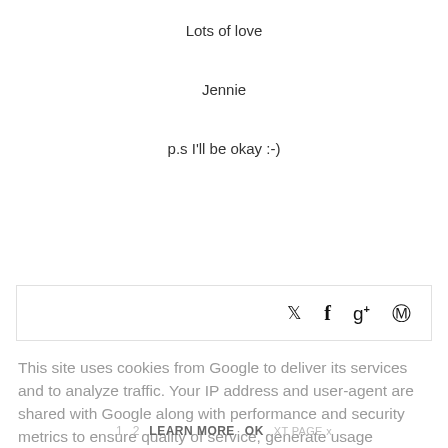Lots of love
Jennie
p.s I'll be okay :-)
[Figure (other): Social share bar with Twitter, Facebook, Google+, and Pinterest icons]
This site uses cookies from Google to deliver its services and to analyze traffic. Your IP address and user-agent are shared with Google along with performance and security metrics to ensure quality of service, generate usage statistics, and to detect and address abuse.
1  2  LEARN MORE  OK  XT PAGE x